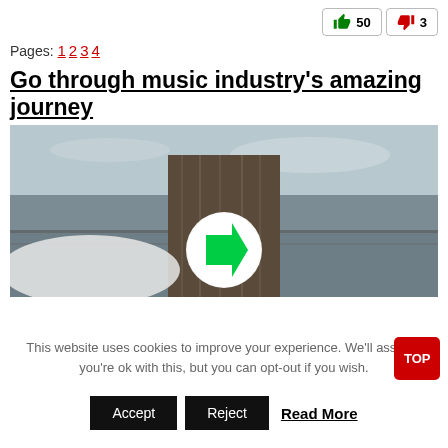👍 50  👎 3
Pages: 1 2 3 4
Go through music industry's amazing journey
[Figure (photo): Black and white photo of a wooden post near the ocean, with a circular green arrow sign overlaid in the center]
This website uses cookies to improve your experience. We'll assume you're ok with this, but you can opt-out if you wish.
Accept  Reject  Read More